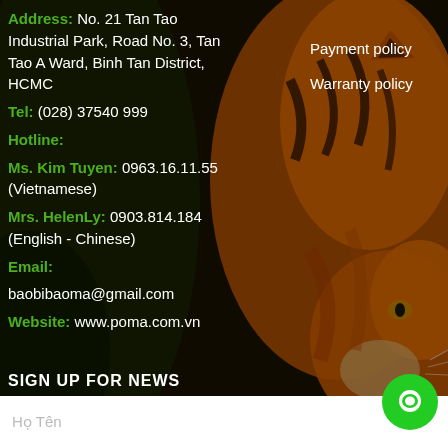Address: No. 21 Tan Tao Industrial Park, Road No. 3, Tan Tao A Ward, Binh Tan District, HCMC
Payment policy
Warranty policy
Tel: (028) 37540 999
Hotline:
Ms. Kim Tuyen: 0963.16.11.55 (Vietnamese)
Mrs. HelenLy: 0903.814.184 (English - Chinese)
Email:
baobibaoma@gmail.com
Website: www.poma.com.vn
SIGN UP FOR NEWS
Họ Tên